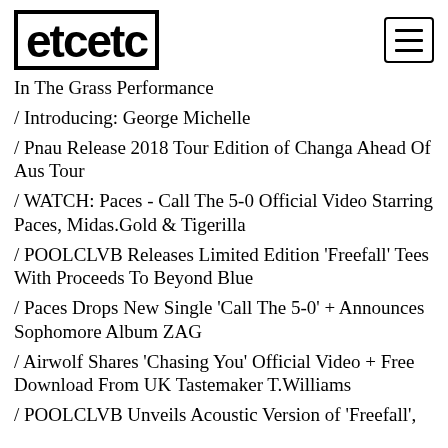etcetc
In The Grass Performance
/ Introducing: George Michelle
/ Pnau Release 2018 Tour Edition of Changa Ahead Of Aus Tour
/ WATCH: Paces - Call The 5-0 Official Video Starring Paces, Midas.Gold & Tigerilla
/ POOLCLVB Releases Limited Edition 'Freefall' Tees With Proceeds To Beyond Blue
/ Paces Drops New Single 'Call The 5-0' + Announces Sophomore Album ZAG
/ Airwolf Shares 'Chasing You' Official Video + Free Download From UK Tastemaker T.Williams
/ POOLCLVB Unveils Acoustic Version of 'Freefall',